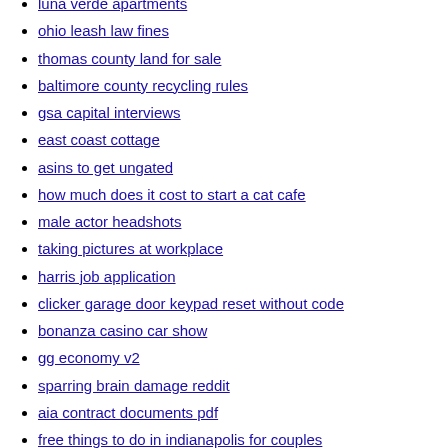luna verde apartments
ohio leash law fines
thomas county land for sale
baltimore county recycling rules
gsa capital interviews
east coast cottage
asins to get ungated
how much does it cost to start a cat cafe
male actor headshots
taking pictures at workplace
harris job application
clicker garage door keypad reset without code
bonanza casino car show
gg economy v2
sparring brain damage reddit
aia contract documents pdf
free things to do in indianapolis for couples
slope 2 download
ebt portal login
silicone heater hose
campsite beesands
vanilla js list view mckinsey
franklin county fairgrounds ma
key west shooting yesterday
massage capitol drive brookfield